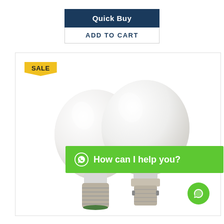[Figure (screenshot): Quick Buy button with navy blue background and white bold text, below which is an ADD TO CART button in white with dark text and border]
[Figure (photo): Two white LED light bulbs side by side - left bulb has E27 screw base, right bulb has B22 bayonet base. Both have white rounded globe shape with silver/metallic base fittings. Background is white within a bordered product card. A yellow SALE badge is in the top left. A green WhatsApp chat banner reads 'How can I help you?' overlays the right portion. A green chat circle icon is in the bottom right corner.]